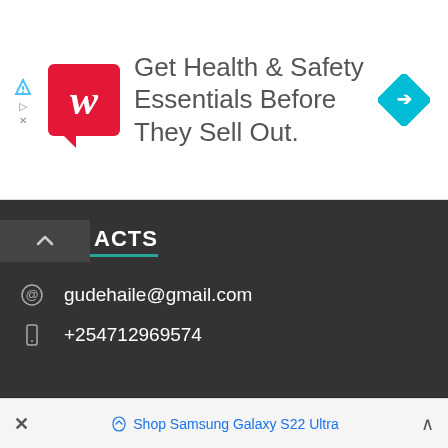[Figure (screenshot): Walgreens advertisement banner with red logo and text 'Get Health & Safety Essentials Before They Sell Out.' with a blue navigation diamond icon]
CONTACTS
gudehaile@gmail.com
+254712969574
Copyright www.fidetec.com 2022
Powered by WordPress and HitMag.
[Figure (screenshot): Bottom ad bar: × Shop Samsung Galaxy S22 Ultra ^]